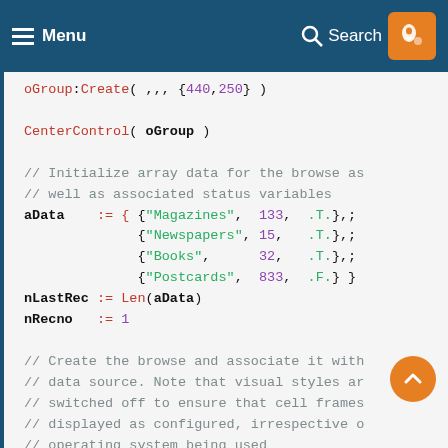Menu   Search
[Figure (screenshot): Code snippet showing Xbase++ programming code with oGroup:Create, CenterControl, aData array initialization with Magazines/Newspapers/Books/Postcards, nLastRec, nRecno, and oBrowse creation]
oGroup:Create( ,,, {440,250} )

CenterControl( oGroup )

// Initialize array data for the browse as
// well as associated status variables
aData    := { {"Magazines",  133,  .T.},;
                  {"Newspapers", 15,   .T.},;
                  {"Books",      32,   .T.},;
                  {"Postcards",  833,  .F.} }
nLastRec := Len(aData)
nRecno   := 1

// Create the browse and associate it with
// data source. Note that visual styles ar
// switched off to ensure that cell frames
// displayed as configured, irrespective o
// operating system being used
oBrowse := XbpBrowse():New( oGroup )